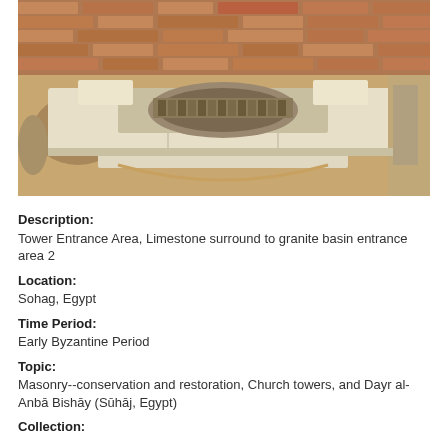[Figure (photo): Photograph of a tower entrance area showing a limestone surround to a granite basin entrance area. The structure has large flat limestone slabs arranged around a central recessed basin area. Sandy soil and brick walls are visible in the background.]
Description:
Tower Entrance Area, Limestone surround to granite basin entrance area 2
Location:
Sohag, Egypt
Time Period:
Early Byzantine Period
Topic:
Masonry--conservation and restoration, Church towers, and Dayr al-Anbā Bishāy (Sūhāj, Egypt)
Collection: